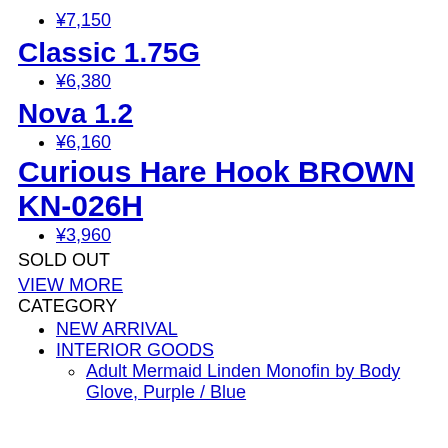¥7,150
Classic 1.75G
¥6,380
Nova 1.2
¥6,160
Curious Hare Hook BROWN KN-026H
¥3,960
SOLD OUT
VIEW MORE
CATEGORY
NEW ARRIVAL
INTERIOR GOODS
Adult Mermaid Linden Monofin by Body Glove, Purple / Blue